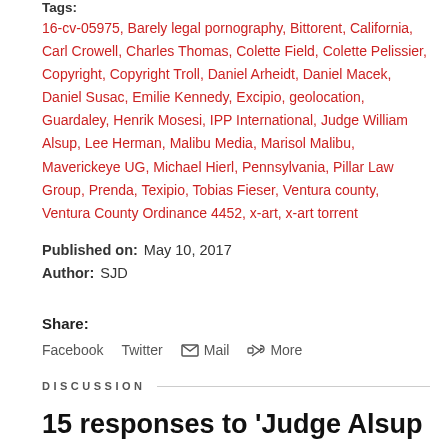Tags: 16-cv-05975, Barely legal pornography, Bittorent, California, Carl Crowell, Charles Thomas, Colette Field, Colette Pelissier, Copyright, Copyright Troll, Daniel Arheidt, Daniel Macek, Daniel Susac, Emilie Kennedy, Excipio, geolocation, Guardaley, Henrik Mosesi, IPP International, Judge William Alsup, Lee Herman, Malibu Media, Marisol Malibu, Maverickeye UG, Michael Hierl, Pennsylvania, Pillar Law Group, Prenda, Texipio, Tobias Fieser, Ventura county, Ventura County Ordinance 4452, x-art, x-art torrent
Published on: May 10, 2017
Author: SJD
Share: Facebook Twitter Mail More
DISCUSSION
15 responses to 'Judge Alsup